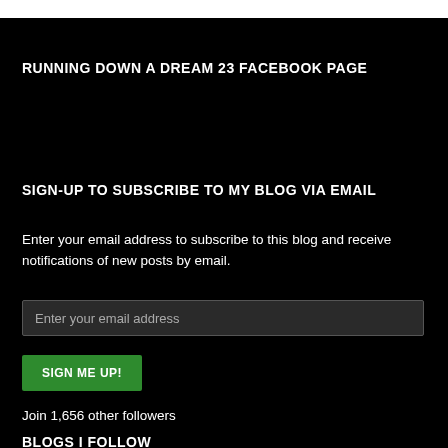RUNNING DOWN A DREAM 23 FACEBOOK PAGE
SIGN-UP TO SUBSCRIBE TO MY BLOG VIA EMAIL
Enter your email address to subscribe to this blog and receive notifications of new posts by email.
Enter your email address
SIGN ME UP!
Join 1,656 other followers
BLOGS I FOLLOW